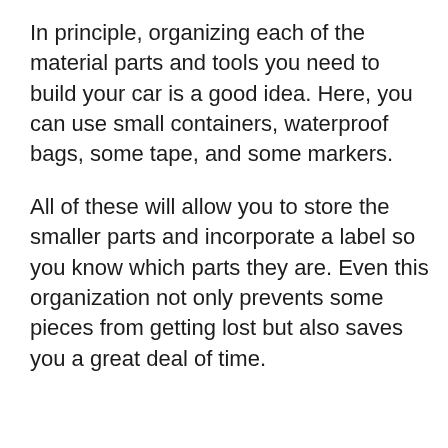In principle, organizing each of the material parts and tools you need to build your car is a good idea. Here, you can use small containers, waterproof bags, some tape, and some markers.
All of these will allow you to store the smaller parts and incorporate a label so you know which parts they are. Even this organization not only prevents some pieces from getting lost but also saves you a great deal of time.